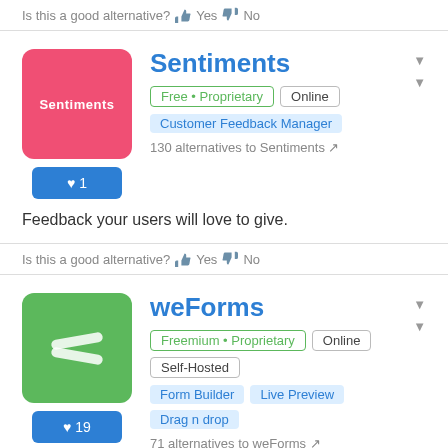Is this a good alternative? 👍 Yes 👎 No
Sentiments
Free • Proprietary  Online
Customer Feedback Manager
❤ 1
130 alternatives to Sentiments 🔗
Feedback your users will love to give.
Is this a good alternative? 👍 Yes 👎 No
weForms
Freemium • Proprietary  Online  Self-Hosted
Form Builder  Live Preview  Drag n drop
❤ 19
71 alternatives to weForms 🔗